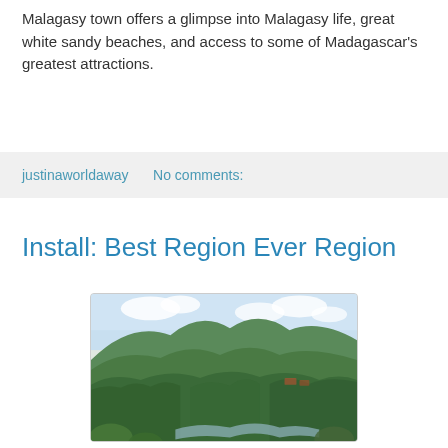Malagasy town offers a glimpse into Malagasy life, great white sandy beaches, and access to some of Madagascar's greatest attractions.
justinaworldaway    No comments:
Install: Best Region Ever Region
[Figure (photo): Lush green tropical landscape with forested hills and mountains under a partly cloudy sky, with a stream or river visible at the bottom of the scene. Typical Madagascar highland vegetation.]